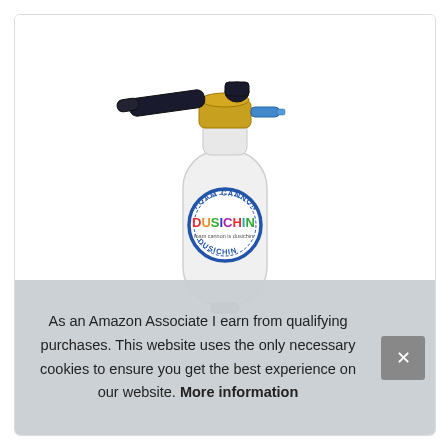[Figure (photo): A white foam cannon/snow foam lance with black handle nozzle, brass fittings and connector, and a round DUSICHIN branded label on the white canister bottle. The label features a blue circle with 'FOAM CANNON' text at top, 'DUSICHIN' in colorful letters in the center, and 'DUSICHIN' at the bottom inside the circle.]
As an Amazon Associate I earn from qualifying purchases. This website uses the only necessary cookies to ensure you get the best experience on our website. More information